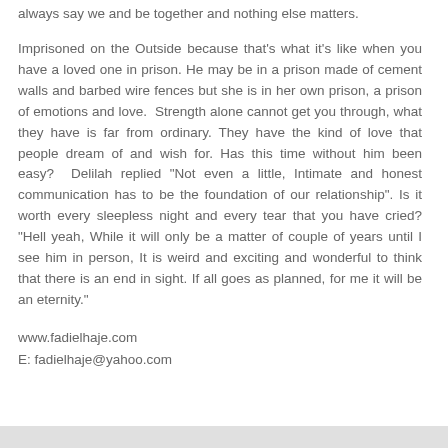always say we and be together and nothing else matters.
Imprisoned on the Outside because that's what it's like when you have a loved one in prison. He may be in a prison made of cement walls and barbed wire fences but she is in her own prison, a prison of emotions and love.  Strength alone cannot get you through, what they have is far from ordinary. They have the kind of love that people dream of and wish for. Has this time without him been easy?  Delilah replied "Not even a little, Intimate and honest communication has to be the foundation of our relationship". Is it worth every sleepless night and every tear that you have cried? "Hell yeah, While it will only be a matter of couple of years until I see him in person, It is weird and exciting and wonderful to think that there is an end in sight. If all goes as planned, for me it will be an eternity."
www.fadielhaje.com
E: fadielhaje@yahoo.com